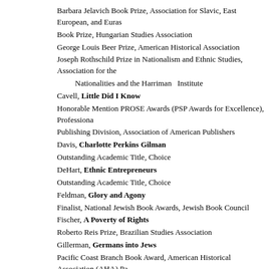Barbara Jelavich Book Prize, Association for Slavic, East European, and Euras...
Book Prize, Hungarian Studies Association
George Louis Beer Prize, American Historical Association
Joseph Rothschild Prize in Nationalism and Ethnic Studies, Association for the Nationalities and the Harriman  Institute
Cavell, Little Did I Know
Honorable Mention PROSE Awards (PSP Awards for Excellence), Professional Publishing Division, Association of American Publishers
Davis, Charlotte Perkins Gilman
Outstanding Academic Title, Choice
DeHart, Ethnic Entrepreneurs
Outstanding Academic Title, Choice
Feldman, Glory and Agony
Finalist, National Jewish Book Awards, Jewish Book Council
Fischer, A Poverty of Rights
Roberto Reis Prize, Brazilian Studies Association
Gillerman, Germans into Jews
Pacific Coast Branch Book Award, American Historical Association (AHA) Pa...
Halliday, Bankrupt
Best Scholarly Book Award, ASA Section on Global and Transnational Sociol...
Viviana Zelizer Distinguished Scholarship Award, ASA Section on Economic S...
Co-winner, Distinguished Book Award, ASA Sociology of Law Section